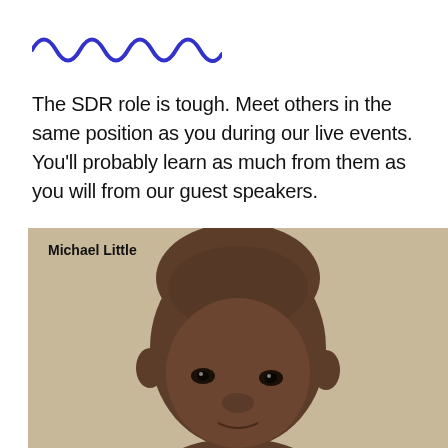[Figure (illustration): Blue squiggly wave decorative line]
The SDR role is tough. Meet others in the same position as you during our live events. You’ll probably learn as much from them as you will from our guest speakers.
[Figure (photo): Photo of Michael Little, a man with a shaved head against a beige background, shown from shoulders up with a slight smile.]